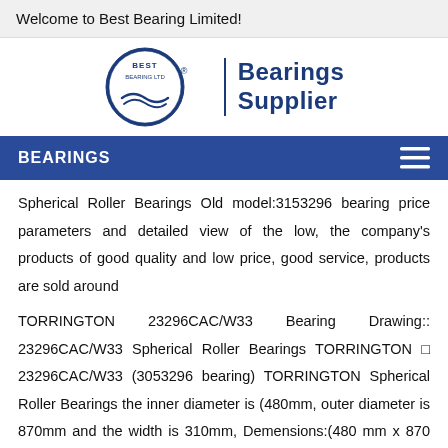Welcome to Best Bearing Limited!
[Figure (logo): Best Bearing Ltd circular logo with wave design and 'Bearings Supplier' text]
BEARINGS
Spherical Roller Bearings Old model:3153296 bearing price parameters and detailed view of the low, the company's products of good quality and low price, good service, products are sold around
TORRINGTON 23296CAC/W33 Bearing Drawing:: 23296CAC/W33 Spherical Roller Bearings TORRINGTON □ 23296CAC/W33 (3053296 bearing) TORRINGTON Spherical Roller Bearings the inner diameter is (480mm, outer diameter is 870mm and the width is 310mm, Demensions:(480 mm x 870 mm x 310 mm), Please send your model, quantity, delivery date, and